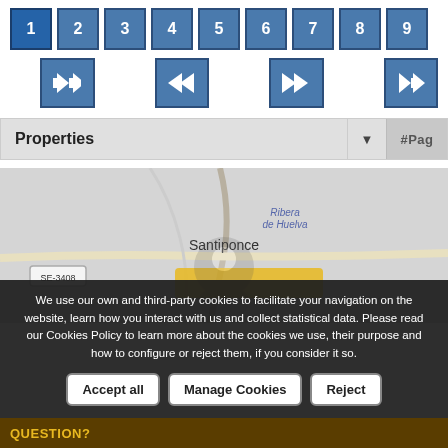[Figure (screenshot): Pagination control with numbered page buttons 1 through 9, nav buttons (first, prev, next, last), a Properties dropdown bar with #Pag label, a map area showing Santiponce region, and a cookie consent overlay with Accept all, Manage Cookies, and Reject buttons.]
We use our own and third-party cookies to facilitate your navigation on the website, learn how you interact with us and collect statistical data. Please read our Cookies Policy to learn more about the cookies we use, their purpose and how to configure or reject them, if you consider it so.
Accept all | Manage Cookies | Reject
QUESTION?